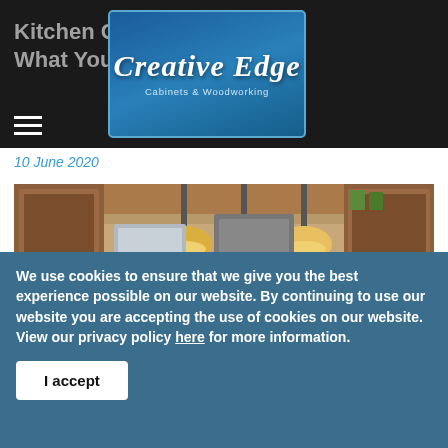Kitchen Countertops - What You Need To Know
[Figure (logo): Creative Edge Cabinets & Woodworking logo — script text on blue background]
10 June 2020
[Figure (photo): Interior kitchen photo showing warm wood cabinets, pendant lights, and stainless steel refrigerator]
We use cookies to ensure that we give you the best experience possible on our website. By continuing to use our website you are accepting the use of cookies on our website. View our privacy policy here for more information.
I accept